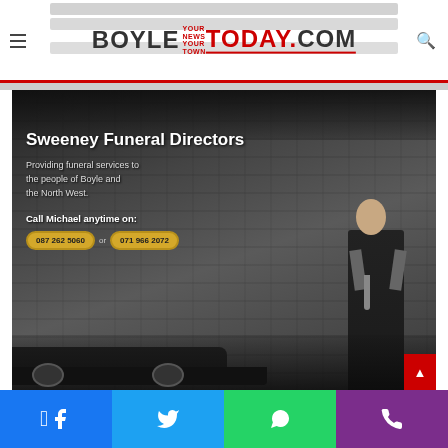BoyleToday.com — Your News Your Town
[Figure (photo): Sweeney Funeral Directors advertisement. Dark background with stone wall texture and a man in a suit standing beside a hearse. Text reads: Sweeney Funeral Directors. Providing funeral services to the people of Boyle and the North West. Call Michael anytime on: 087 262 5060 or 071 966 2072.]
Sweeney Funeral Directors
Providing funeral services to the people of Boyle and the North West.
Call Michael anytime on:
087 262 5060 or 071 966 2072